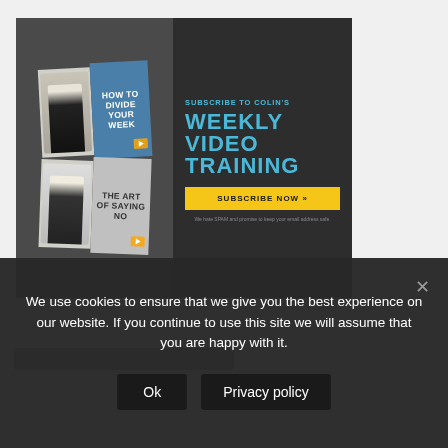[Figure (infographic): Advertisement banner for Colin's Weekly Video Training subscription. Left side shows two tilted video thumbnails: 'How To Divide Your Week' and 'The Art of Saying No'. Right side has dark background with cyan text 'SUBSCRIBE TO COLIN'S WEEKLY VIDEO TRAINING', yellow 'SUBSCRIBE NOW »' button, and small print about SPAM.]
We use cookies to ensure that we give you the best experience on our website. If you continue to use this site we will assume that you are happy with it.
Ok
Privacy policy